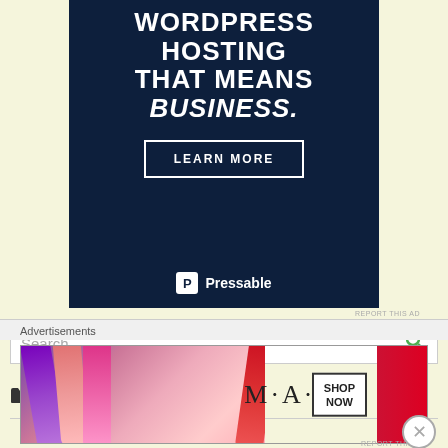[Figure (infographic): Dark navy blue advertisement banner for Pressable WordPress Hosting. Text reads 'WORDPRESS HOSTING THAT MEANS BUSINESS.' with a 'LEARN MORE' button and Pressable logo at bottom.]
REPORT THIS AD
Search...
Categories
Advertisements
[Figure (photo): MAC Cosmetics advertisement banner showing lipsticks on left side, MAC logo in center, and a SHOP NOW button box on the right.]